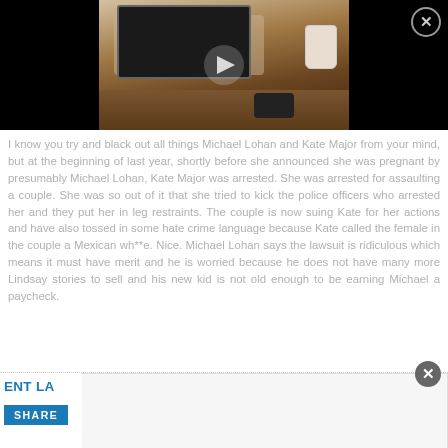[Figure (photo): Video thumbnail showing hands typing on a laptop on a wooden desk with a coffee cup and phone, black background on sides, with a play button overlay and close X button in top-right corner]
I know you try and black out all things Michael Lohan and Kate Major from your mind, but at the beginning of last year, shortly before she announced she was pregnant by presumably Michael Lohan, Kate Major was arrested. She was arrested for assaulting a couple. She was so out of it that she tried to kick the police officers who arrested her and they put her in leg restraints. The couple is now suing Kate for her actions and have also tossed in some hate crime language because Kate called the female in the couple a Mexican wh**e. Nice. Michael Lohan says the lawsuit is ridiculous which means it must have merit and he is worried because he does not have many more Lindsay stories to sell and his new kid is not old enough to be earning Michael a paycheck.
ENT LA... SHARE